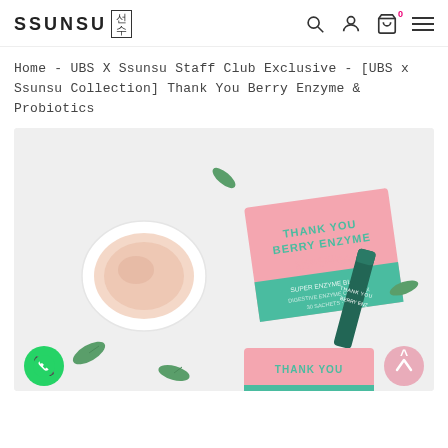[Figure (logo): SSUNSU logo with Korean characters in a box]
Home - UBS X Ssunsu Staff Club Exclusive - [UBS x Ssunsu Collection] Thank You Berry Enzyme & Probiotics
[Figure (photo): Product photo of Thank You Berry Enzyme & Probiotics pink box with powder in a white dish and single-serve stick pack, on a white background with scattered green leaves. Text on box: THANK YOU BERRY ENZYME (Korean characters below). A smaller pink box with THANK YOU text is partially visible at bottom.]